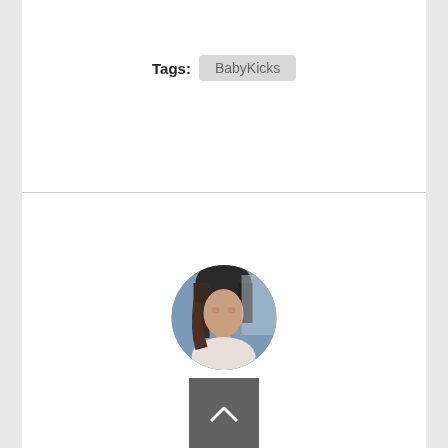Tags: BabyKicks
[Figure (photo): Circular profile photo of a young woman with long brown hair, seated in a car, wearing a white top.]
[Figure (other): Dark grey back-to-top button with an upward-pointing chevron arrow.]